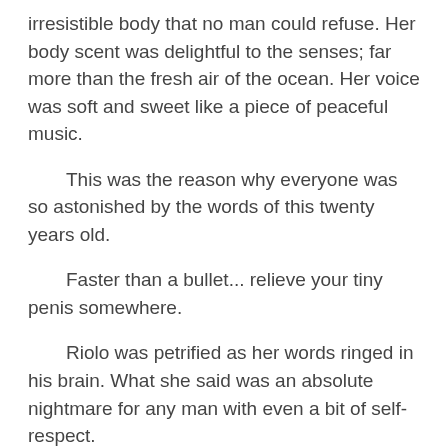irresistible body that no man could refuse. Her body scent was delightful to the senses; far more than the fresh air of the ocean. Her voice was soft and sweet like a piece of peaceful music.
This was the reason why everyone was so astonished by the words of this twenty years old.
Faster than a bullet... relieve your tiny penis somewhere.
Riolo was petrified as her words ringed in his brain. What she said was an absolute nightmare for any man with even a bit of self-respect.
And Riolo was the receiver of these painful words in front of a large crowd.